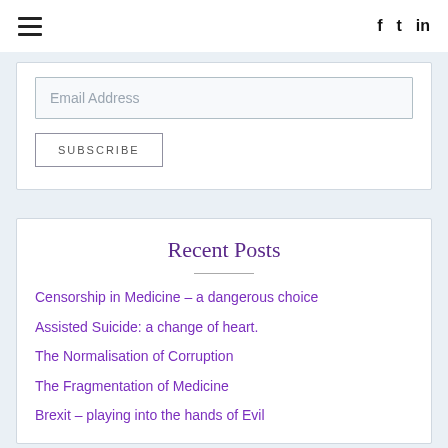☰   f  t  in
Email Address
SUBSCRIBE
Recent Posts
Censorship in Medicine – a dangerous choice
Assisted Suicide: a change of heart.
The Normalisation of Corruption
The Fragmentation of Medicine
Brexit – playing into the hands of Evil